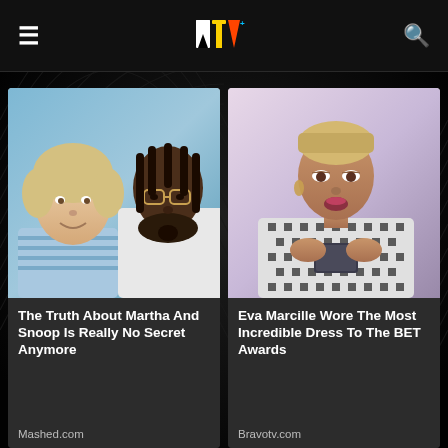MTV
[Figure (screenshot): Photo of Martha Stewart and Snoop Dogg together against a blue background]
The Truth About Martha And Snoop Is Really No Secret Anymore
Mashed.com
[Figure (screenshot): Photo of Eva Marcille in a black and white houndstooth outfit holding a phone]
Eva Marcille Wore The Most Incredible Dress To The BET Awards
Bravotv.com